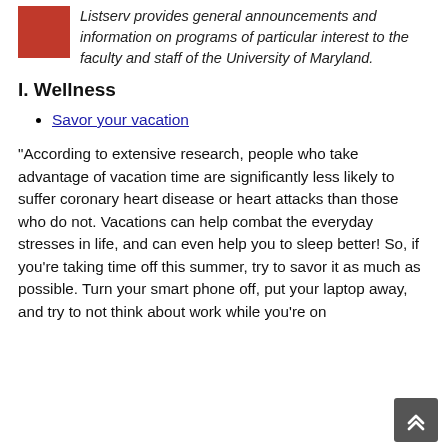[Figure (photo): Small photo thumbnail in top-left corner showing a person wearing red]
Listserv provides general announcements and information on programs of particular interest to the faculty and staff of the University of Maryland.
I. Wellness
Savor your vacation
“According to extensive research, people who take advantage of vacation time are significantly less likely to suffer coronary heart disease or heart attacks than those who do not. Vacations can help combat the everyday stresses in life, and can even help you to sleep better! So, if you’re taking time off this summer, try to savor it as much as possible. Turn your smart phone off, put your laptop away, and try to not think about work while you’re on